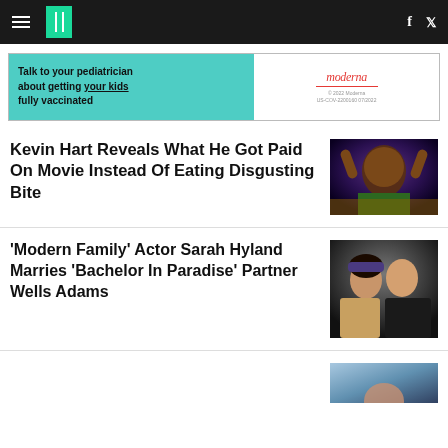HuffPost navigation bar with hamburger menu, logo, Facebook and Twitter icons
[Figure (other): Moderna advertisement banner: 'Talk to your pediatrician about getting your kids fully vaccinated']
Kevin Hart Reveals What He Got Paid On Movie Instead Of Eating Disgusting Bite
[Figure (photo): Photo of Kevin Hart with hands raised, wearing green jacket]
'Modern Family' Actor Sarah Hyland Marries 'Bachelor In Paradise' Partner Wells Adams
[Figure (photo): Photo of Sarah Hyland and Wells Adams smiling together at what appears to be a basketball game]
[Figure (photo): Partial photo at bottom of page, cropped]